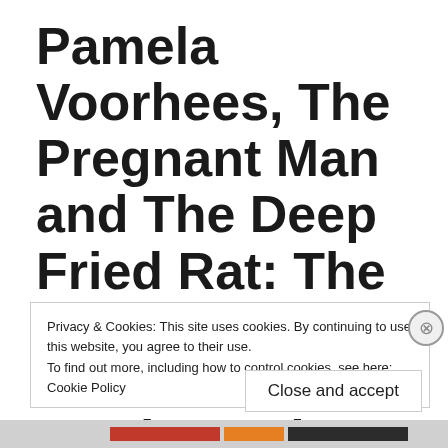Pamela Voorhees, The Pregnant Man and The Deep Fried Rat: The Pre-Video Years of a Cult Movie Loving Crackpot
Privacy & Cookies: This site uses cookies. By continuing to use this website, you agree to their use.
To find out more, including how to control cookies, see here: Cookie Policy
Close and accept